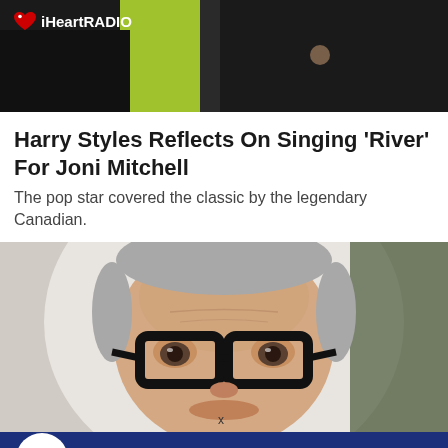iHeartRADIO
[Figure (photo): Top photo banner showing a person in a black and neon yellow outfit, partially cropped]
Harry Styles Reflects On Singing 'River' For Joni Mitchell
The pop star covered the classic by the legendary Canadian.
[Figure (photo): Close-up photo of a middle-aged man with short grey hair wearing large black-framed glasses, against a light background]
Saturday Night Bounce Party
Listen Live
More >